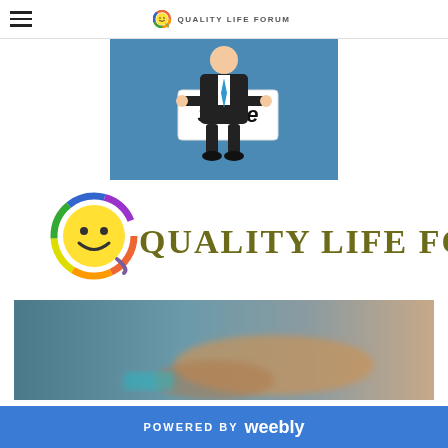Quality Life Forum
[Figure (illustration): Cartoon businessman in suit holding a white sign that reads 'Share' in bold italic text, against a blue background]
[Figure (logo): Quality Life Forum logo: colorful smiley face circle icon with rainbow border on the left, and 'QUALITY LIFE FORUM' text in olive/dark yellow serif font on the right]
[Figure (photo): Blurred close-up photo of a hand, possibly typing or touching a surface, with blue-teal tones in the background]
POWERED BY weebly